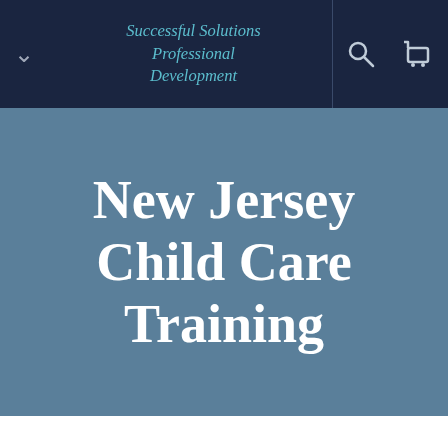Successful Solutions Professional Development
New Jersey Child Care Training